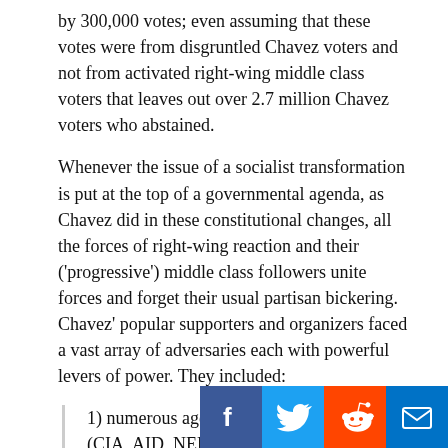by 300,000 votes; even assuming that these votes were from disgruntled Chavez voters and not from activated right-wing middle class voters that leaves out over 2.7 million Chavez voters who abstained.
Whenever the issue of a socialist transformation is put at the top of a governmental agenda, as Chavez did in these constitutional changes, all the forces of right-wing reaction and their ('progressive') middle class followers unite forces and forget their usual partisan bickering. Chavez' popular supporters and organizers faced a vast array of adversaries each with powerful levers of power. They included:
1) numerous agencies of the US government (CIA, AID, NED and the Embassy's political officers), their subcontracted 'assets' (NGO's, student recruitment and indoctrinations programs, newspaper editors and mass media advertisers), the m...